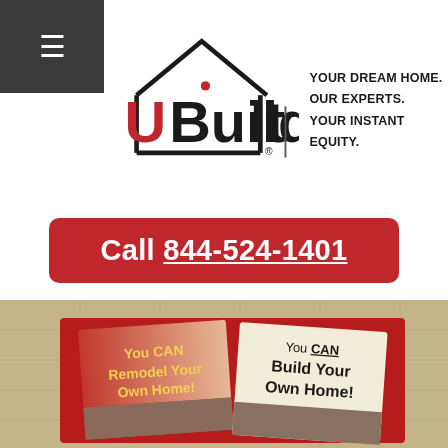[Figure (logo): UBuildIt logo with house roofline above, red and black text, registered trademark. Tagline: YOUR DREAM HOME. OUR EXPERTS. YOUR INSTANT EQUITY.]
Call 844-524-1401
[Figure (photo): Red panel on blueprint background showing two book covers: 'You CAN Remodel Your Own Home!' and 'You CAN Build Your Own Home!' with house photos at bottom.]